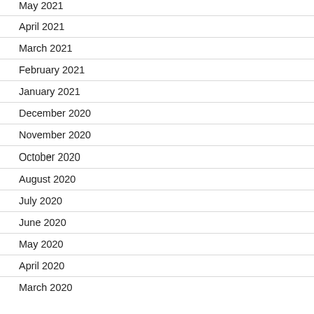May 2021
April 2021
March 2021
February 2021
January 2021
December 2020
November 2020
October 2020
August 2020
July 2020
June 2020
May 2020
April 2020
March 2020